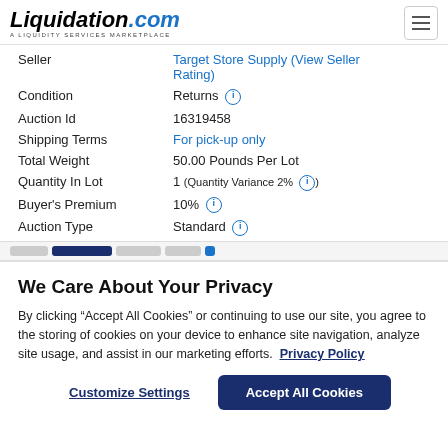[Figure (logo): Liquidation.com logo with tagline A LIQUIDITY SERVICES MARKETPLACE]
| Field | Value |
| --- | --- |
| Seller | Target Store Supply (View Seller Rating) |
| Condition | Returns ⓘ |
| Auction Id | 16319458 |
| Shipping Terms | For pick-up only |
| Total Weight | 50.00 Pounds Per Lot |
| Quantity In Lot | 1 (Quantity Variance 2% ⓘ) |
| Buyer's Premium | 10% ⓘ |
| Auction Type | Standard ⓘ |
We Care About Your Privacy
By clicking “Accept All Cookies” or continuing to use our site, you agree to the storing of cookies on your device to enhance site navigation, analyze site usage, and assist in our marketing efforts. Privacy Policy
Customize Settings | Accept All Cookies